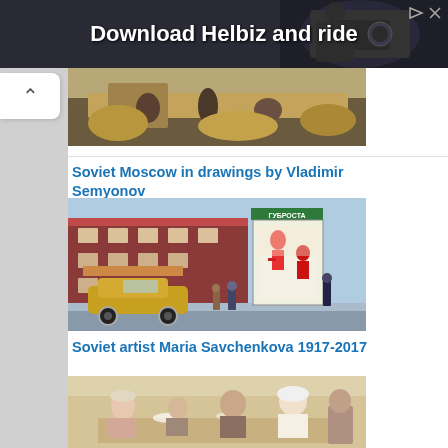[Figure (screenshot): Advertisement banner: dark background with camera/photographer image, text 'Download Helbiz and ride' in white bold, with ad icon (triangle play and X) in top right]
[Figure (photo): Partial view of a painting showing figures harvesting or working in a field, earthy tones]
Soviet Moscow in drawings by Vladimir Semyonov
[Figure (illustration): Colorful drawing of Soviet Moscow street scene: red brick building with Cyrillic signage, vintage yellow automobile in foreground, propaganda poster kiosk reading ГУБРОСТА with illustrated figures, people on street]
Soviet artist Maria Savchenkova 1917-2017
[Figure (illustration): Partial view of a painting showing people seated at a table outdoors, warm tones with figures including children and adults]